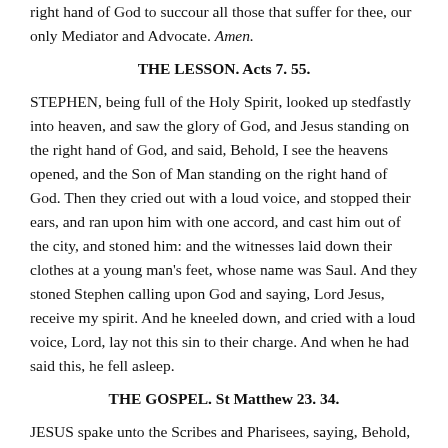right hand of God to succour all those that suffer for thee, our only Mediator and Advocate. Amen.
THE LESSON. Acts 7. 55.
STEPHEN, being full of the Holy Spirit, looked up stedfastly into heaven, and saw the glory of God, and Jesus standing on the right hand of God, and said, Behold, I see the heavens opened, and the Son of Man standing on the right hand of God. Then they cried out with a loud voice, and stopped their ears, and ran upon him with one accord, and cast him out of the city, and stoned him: and the witnesses laid down their clothes at a young man's feet, whose name was Saul. And they stoned Stephen calling upon God and saying, Lord Jesus, receive my spirit. And he kneeled down, and cried with a loud voice, Lord, lay not this sin to their charge. And when he had said this, he fell asleep.
THE GOSPEL. St Matthew 23. 34.
JESUS spake unto the Scribes and Pharisees, saying, Behold, I send unto you prophets, and wise men, and scribes; and some